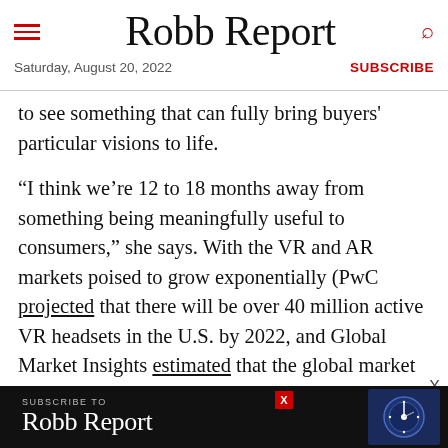Robb Report
Saturday, August 20, 2022
SUBSCRIBE
to see something that can fully bring buyers' particular visions to life.
“I think we’re 12 to 18 months away from something being meaningfully useful to consumers,” she says. With the VR and AR markets poised to grow exponentially (PwC projected that there will be over 40 million active VR headsets in the U.S. by 2022, and Global Market Insights estimated that the global market for AR products will exceed $50 billion by 2024), developers and realtors will continue to find
[Figure (other): Advertisement banner for Robb Report subscription with watch image]